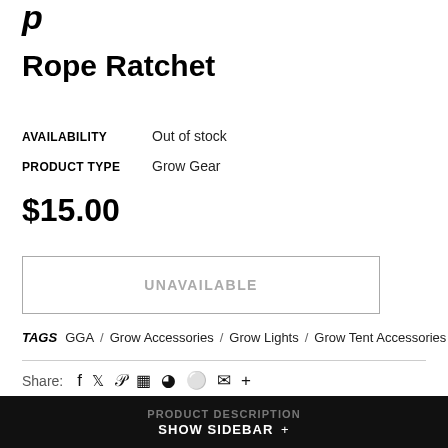Rope Ratchet
AVAILABILITY   Out of stock
PRODUCT TYPE   Grow Gear
$15.00
UNAVAILABLE
TAGS  GGA / Grow Accessories / Grow Lights / Grow Tent Accessories
Share:
PRODUCT DESCRIPTION
SHOW SIDEBAR +